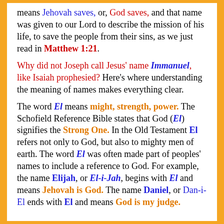means Jehovah saves, or, God saves, and that name was given to our Lord to describe the mission of his life, to save the people from their sins, as we just read in Matthew 1:21.
Why did not Joseph call Jesus' name Immanuel, like Isaiah prophesied? Here's where understanding the meaning of names makes everything clear.
The word El means might, strength, power. The Schofield Reference Bible states that God (El) signifies the Strong One. In the Old Testament El refers not only to God, but also to mighty men of earth. The word El was often made part of peoples' names to include a reference to God. For example, the name Elijah, or El-i-Jah, begins with El and means Jehovah is God. The name Daniel, or Dan-i-El ends with El and means God is my judge.